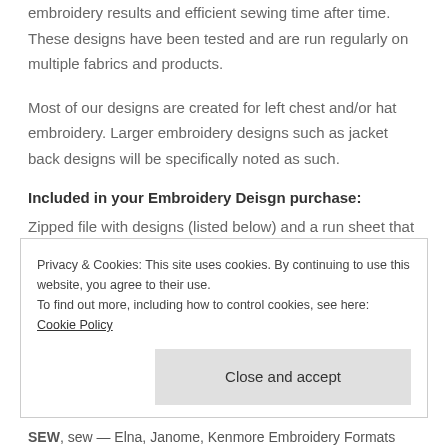embroidery results and efficient sewing time after time. These designs have been tested and are run regularly on multiple fabrics and products.
Most of our designs are created for left chest and/or hat embroidery. Larger embroidery designs such as jacket back designs will be specifically noted as such.
Included in your Embroidery Deisgn purchase:
Zipped file with designs (listed below) and a run sheet that includes all design specs and color changes. Each of our stock embroidery designs come ready for download zipped in a file that includes the
Privacy & Cookies: This site uses cookies. By continuing to use this website, you agree to their use.
To find out more, including how to control cookies, see here: Cookie Policy
SEW, sew — Elna, Janome, Kenmore Embroidery Formats